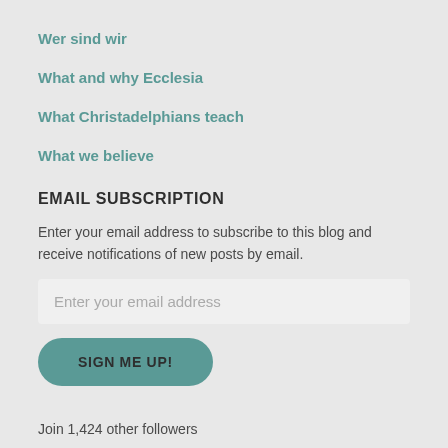Wer sind wir
What and why Ecclesia
What Christadelphians teach
What we believe
EMAIL SUBSCRIPTION
Enter your email address to subscribe to this blog and receive notifications of new posts by email.
Enter your email address
SIGN ME UP!
Join 1,424 other followers